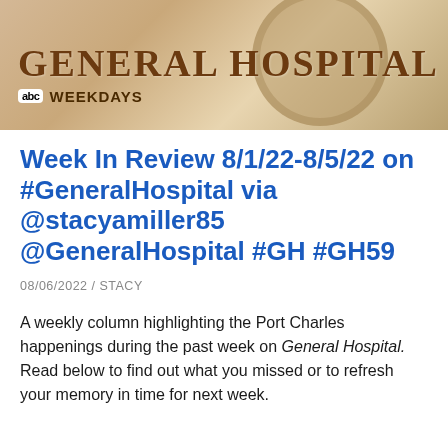[Figure (illustration): General Hospital TV show banner with sepia-toned hospital building background, large stylized G logo, 'GENERAL HOSPITAL' title in serif font, and 'abc WEEKDAYS' subtitle]
Week In Review 8/1/22-8/5/22 on #GeneralHospital via @stacyamiller85 @GeneralHospital #GH #GH59
08/06/2022 / STACY
A weekly column highlighting the Port Charles happenings during the past week on General Hospital. Read below to find out what you missed or to refresh your memory in time for next week.